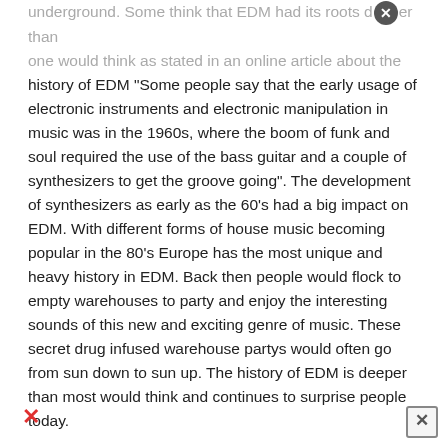underground. Some think that EDM had its roots deeper than one would think as stated in an online article about the history of EDM "Some people say that the early usage of electronic instruments and electronic manipulation in music was in the 1960s, where the boom of funk and soul required the use of the bass guitar and a couple of synthesizers to get the groove going". The development of synthesizers as early as the 60's had a big impact on EDM. With different forms of house music becoming popular in the 80's Europe has the most unique and heavy history in EDM. Back then people would flock to empty warehouses to party and enjoy the interesting sounds of this new and exciting genre of music. These secret drug infused warehouse partys would often go from sun down to sun up. The history of EDM is deeper than most would think and continues to surprise people today.